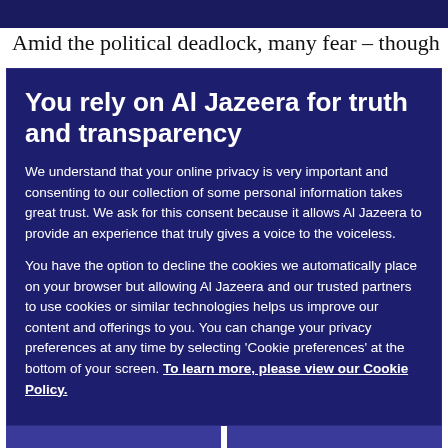Amid the political deadlock, many fear – though
You rely on Al Jazeera for truth and transparency
We understand that your online privacy is very important and consenting to our collection of some personal information takes great trust. We ask for this consent because it allows Al Jazeera to provide an experience that truly gives a voice to the voiceless.
You have the option to decline the cookies we automatically place on your browser but allowing Al Jazeera and our trusted partners to use cookies or similar technologies helps us improve our content and offerings to you. You can change your privacy preferences at any time by selecting 'Cookie preferences' at the bottom of your screen. To learn more, please view our Cookie Policy.